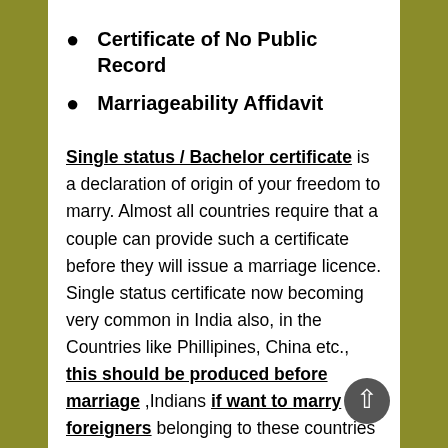Certificate of No Public Record
Marriageability Affidavit
Single status / Bachelor certificate is a declaration of origin of your freedom to marry. Almost all countries require that a couple can provide such a certificate before they will issue a marriage licence. Single status certificate now becoming very common in India also, in the Countries like Phillipines, China etc., this should be produced before marriage ,Indians if want to marry foreigners belonging to these countries have to get the single Status certificate Apostilled.
Single status affidavit India format Certificates is the act of witnessing a on its own status certificate by authorized person / persons / Departments /